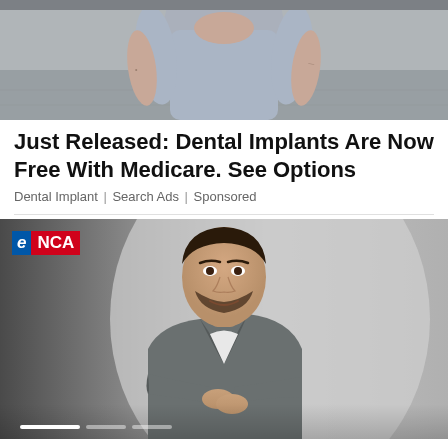[Figure (photo): Cropped photo of a woman in a grey short-sleeve fitted dress, standing outdoors on a sidewalk.]
Just Released: Dental Implants Are Now Free With Medicare. See Options
Dental Implant | Search Ads | Sponsored
[Figure (photo): Photo of a man in a grey blazer over a white t-shirt with arms crossed, on a grey background, with eNCA logo overlay in top-left corner.]
New 2-pot retirement system to boost